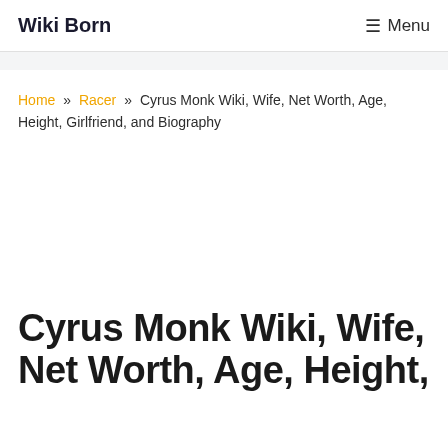Wiki Born   ☰ Menu
Home » Racer » Cyrus Monk Wiki, Wife, Net Worth, Age, Height, Girlfriend, and Biography
Cyrus Monk Wiki, Wife, Net Worth, Age, Height,